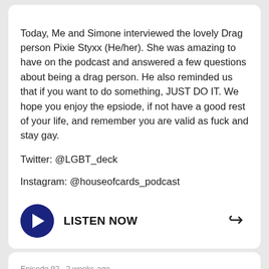Today, Me and Simone interviewed the lovely Drag person Pixie Styxx (He/her). She was amazing to have on the podcast and answered a few questions about being a drag person. He also reminded us that if you want to do something, JUST DO IT. We hope you enjoy the epsiode, if not have a good rest of your life, and remember you are valid as fuck and stay gay.

Twitter: @LGBT_deck

Instagram: @houseofcards_podcast
[Figure (other): Dark navy blue circular play button with white triangle play icon, followed by bold text LISTEN NOW, and a share arrow icon on the right]
Episode 92 · 2 weeks ago
House of Cards; An LGBTQIA2+ Podcast: Gay Slang
Avery and Jesse are both dead in a hole somewhere